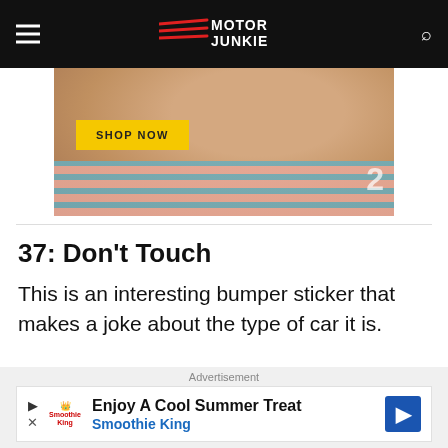Motor Junkie
[Figure (photo): Advertisement image showing a man's face with stubble, wearing a striped shirt, with a yellow 'SHOP NOW' button overlay]
37: Don't Touch
This is an interesting bumper sticker that makes a joke about the type of car it is.
[Figure (other): Advertisement banner: Enjoy A Cool Summer Treat - Smoothie King]